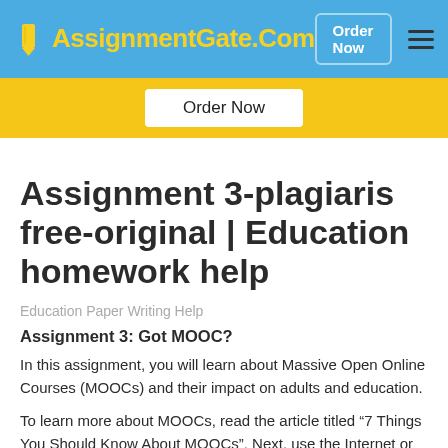AssignmentGate.Com | Order Now
[Figure (other): Yellow banner with 'Order Now' button]
Assignment 3-plagiaris free-original | Education homework help
Education Paper Writing Help
Assignment 3: Got MOOC?
In this assignment, you will learn about Massive Open Online Courses (MOOCs) and their impact on adults and education.
To learn more about MOOCs, read the article titled “7 Things You Should Know About MOOCs”. Next, use the Internet or